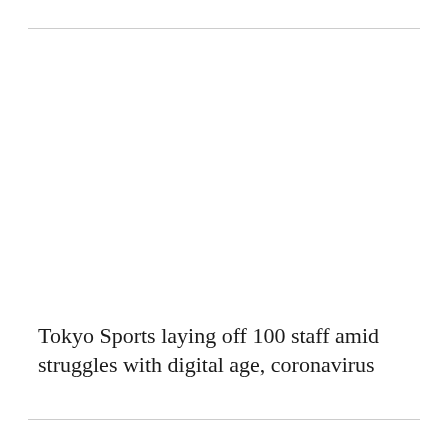Tokyo Sports laying off 100 staff amid struggles with digital age, coronavirus